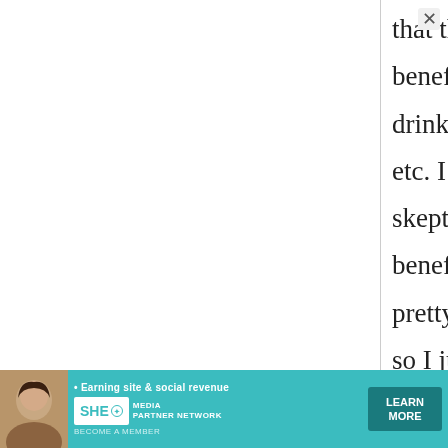that the whey has health benefits, and they either drink it or use it in soups etc. I personally am a bit skeptical about the health benefits...and to me it tastes pretty bad, salty and bitter, so I just throw it out. In olden days when salt and nigari were
[Figure (other): Advertisement banner for SHE Media Partner Network: 'Earning site & social revenue' with a LEARN MORE button and a woman's photo]